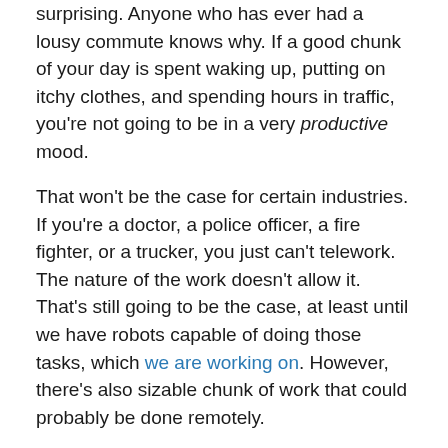surprising. Anyone who has ever had a lousy commute knows why. If a good chunk of your day is spent waking up, putting on itchy clothes, and spending hours in traffic, you're not going to be in a very productive mood.
That won't be the case for certain industries. If you're a doctor, a police officer, a fire fighter, or a trucker, you just can't telework. The nature of the work doesn't allow it. That's still going to be the case, at least until we have robots capable of doing those tasks, which we are working on. However, there's also sizable chunk of work that could probably be done remotely.
I think the impacts of this emerging truth will extend far beyond the pandemic. I've already seen it with people I know. They enjoy teleworking. They don't want to stop, even after the pandemic becomes a bleak footnote in history. Some are willing to still go into the office some of